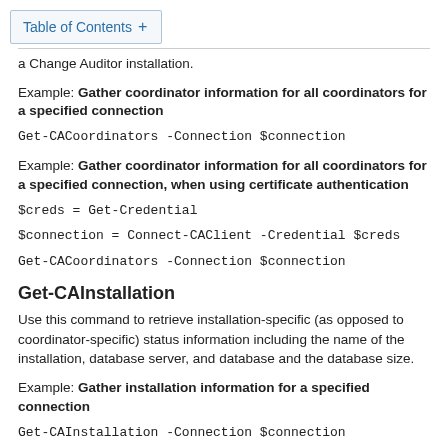Table of Contents +
a Change Auditor installation.
Example: Gather coordinator information for all coordinators for a specified connection
Get-CACoordinators -Connection $connection
Example: Gather coordinator information for all coordinators for a specified connection, when using certificate authentication
$creds = Get-Credential
$connection = Connect-CAClient -Credential $creds
Get-CACoordinators -Connection $connection
Get-CAInstallation
Use this command to retrieve installation-specific (as opposed to coordinator-specific) status information including the name of the installation, database server, and database and the database size.
Example: Gather installation information for a specified connection
Get-CAInstallation -Connection $connection